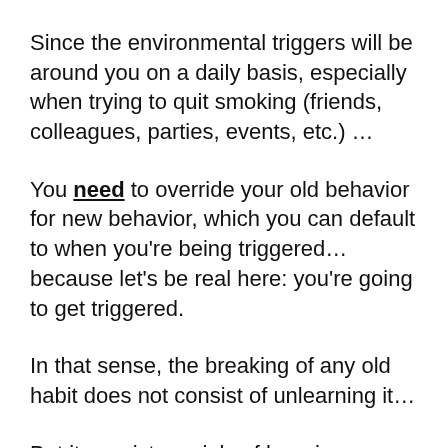Since the environmental triggers will be around you on a daily basis, especially when trying to quit smoking (friends, colleagues, parties, events, etc.) …
You need to override your old behavior for new behavior, which you can default to when you're being triggered…because let's be real here: you're going to get triggered.
In that sense, the breaking of any old habit does not consist of unlearning it…
But it consists mainly of learning a new practice which replaces the old one.